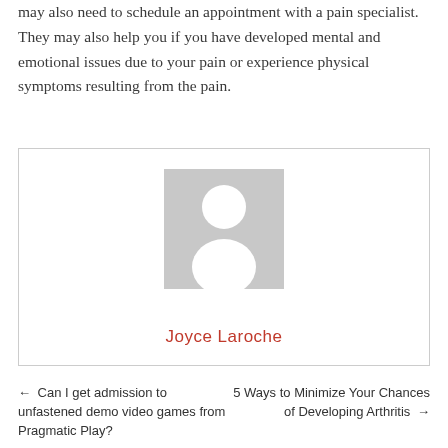may also need to schedule an appointment with a pain specialist. They may also help you if you have developed mental and emotional issues due to your pain or experience physical symptoms resulting from the pain.
[Figure (illustration): Author avatar placeholder showing a generic silhouette of a person (head and shoulders) in gray on a gray background, with the author name 'Joyce Laroche' displayed in red below.]
← Can I get admission to unfastened demo video games from Pragmatic Play?
5 Ways to Minimize Your Chances of Developing Arthritis →